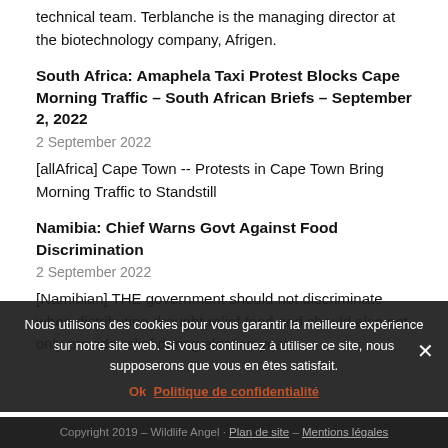technical team. Terblanche is the managing director at the biotechnology company, Afrigen.
South Africa: Amaphela Taxi Protest Blocks Cape Morning Traffic – South African Briefs – September 2, 2022
2 September 2022
[allAfrica] Cape Town -- Protests in Cape Town Bring Morning Traffic to Standstill
Namibia: Chief Warns Govt Against Food Discrimination
2 September 2022
[Namibian] THE government should not discriminate when distributing drought relief food and should also not only provide relief during election years.
Nous utilisons des cookies pour vous garantir la meilleure expérience sur notre site web. Si vous continuez à utiliser ce site, nous supposerons que vous en êtes satisfait.
Copyright 2019 – Wildlife Angel · Plan de site – Mentions légales